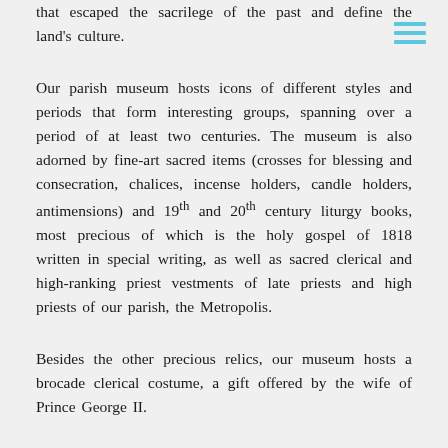that escaped the sacrilege of the past and define the land's culture.
Our parish museum hosts icons of different styles and periods that form interesting groups, spanning over a period of at least two centuries. The museum is also adorned by fine-art sacred items (crosses for blessing and consecration, chalices, incense holders, candle holders, antimensions) and 19th and 20th century liturgy books, most precious of which is the holy gospel of 1818 written in special writing, as well as sacred clerical and high-ranking priest vestments of late priests and high priests of our parish, the Metropolis.
Besides the other precious relics, our museum hosts a brocade clerical costume, a gift offered by the wife of Prince George II.